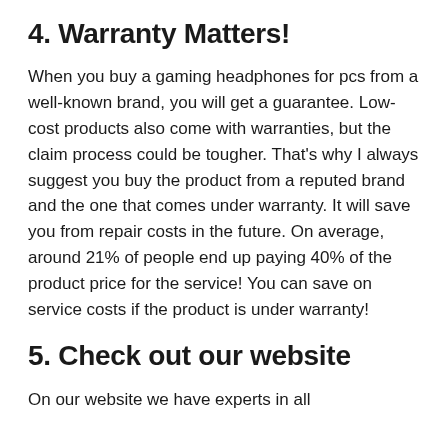4. Warranty Matters!
When you buy a gaming headphones for pcs from a well-known brand, you will get a guarantee. Low-cost products also come with warranties, but the claim process could be tougher. That’s why I always suggest you buy the product from a reputed brand and the one that comes under warranty. It will save you from repair costs in the future. On average, around 21% of people end up paying 40% of the product price for the service! You can save on service costs if the product is under warranty!
5. Check out our website
On our website we have experts in all